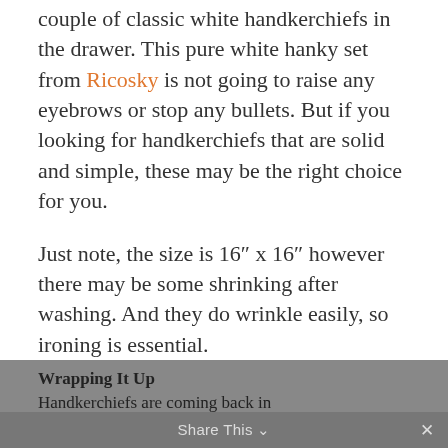couple of classic white handkerchiefs in the drawer. This pure white hanky set from Ricosky is not going to raise any eyebrows or stop any bullets. But if you looking for handkerchiefs that are solid and simple, these may be the right choice for you.
Just note, the size is 16″ x 16″ however there may be some shrinking after washing. And they do wrinkle easily, so ironing is essential.
Wrapping It Up
Handkerchiefs are coming back in